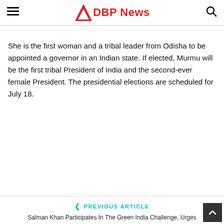DBP News
She is the first woman and a tribal leader from Odisha to be appointed a governor in an Indian state. If elected, Murmu will be the first tribal President of India and the second-ever female President. The presidential elections are scheduled for July 18.
◄ PREVIOUS ARTICLE
Salman Khan Participates In The Green India Challenge, Urges